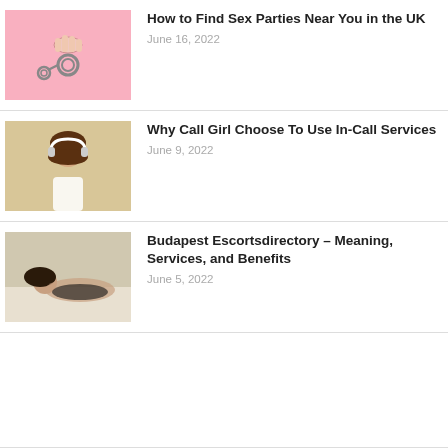[Figure (photo): Hand holding handcuffs against pink background]
How to Find Sex Parties Near You in the UK
June 16, 2022
[Figure (photo): Young woman with headphones smiling, white top, blurred background]
Why Call Girl Choose To Use In-Call Services
June 9, 2022
[Figure (photo): Woman in lingerie lying on white fur surface]
Budapest Escortsdirectory – Meaning, Services, and Benefits
June 5, 2022